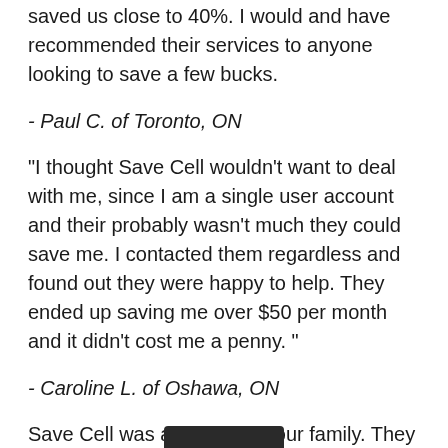saved us close to 40%. I would and have recommended their services to anyone looking to save a few bucks.
- Paul C. of Toronto, ON
"I thought Save Cell wouldn't want to deal with me, since I am a single user account and their probably wasn't much they could save me. I contacted them regardless and found out they were happy to help. They ended up saving me over $50 per month and it didn't cost me a penny. "
- Caroline L. of Oshawa, ON
Save Cell was a big help to our family. They reduced the costs of our cell phones, internet, TV and home phone and allowed us to save enough money so that we could go on vacation, just from the saving